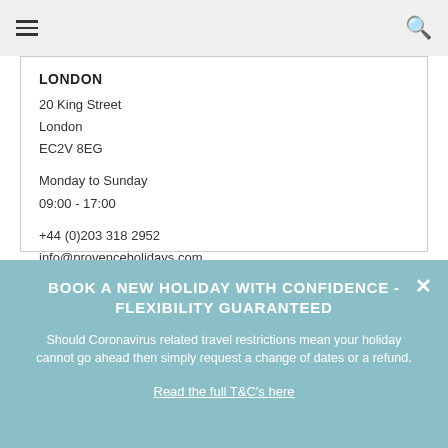Navigation bar with hamburger menu and search icon
LONDON
20 King Street
London
EC2V 8EG
Monday to Sunday
09:00 - 17:00
+44 (0)203 318 2952
info@provenceholidays.com
BOOK A NEW HOLIDAY WITH CONFIDENCE - FLEXIBILITY GUARANTEED
Should Coronavirus related travel restrictions mean your holiday cannot go ahead then simply request a change of dates or a refund.
Read the full T&C's here